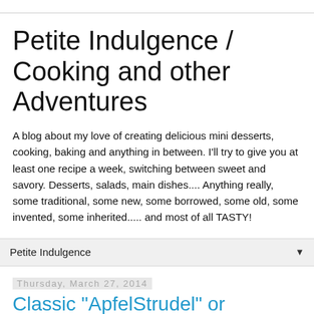Petite Indulgence / Cooking and other Adventures
A blog about my love of creating delicious mini desserts, cooking, baking and anything in between. I'll try to give you at least one recipe a week, switching between sweet and savory. Desserts, salads, main dishes.... Anything really, some traditional, some new, some borrowed, some old, some invented, some inherited..... and most of all TASTY!
Petite Indulgence
Thursday, March 27, 2014
Classic "ApfelStrudel" or AppleStrudel!